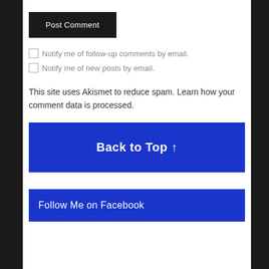Post Comment
Notify me of follow-up comments by email.
Notify me of new posts by email.
This site uses Akismet to reduce spam. Learn how your comment data is processed.
Back to Top ↑
Follow Me on Facebook